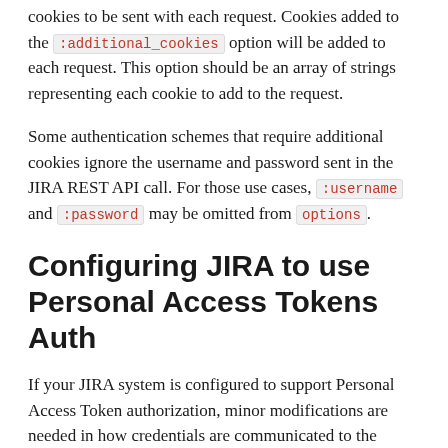cookies to be sent with each request. Cookies added to the :additional_cookies option will be added to each request. This option should be an array of strings representing each cookie to add to the request.
Some authentication schemes that require additional cookies ignore the username and password sent in the JIRA REST API call. For those use cases, :username and :password may be omitted from options.
Configuring JIRA to use Personal Access Tokens Auth
If your JIRA system is configured to support Personal Access Token authorization, minor modifications are needed in how credentials are communicated to the server. Specifically, the paremeters :username and :password are not needed. Also, the parameter